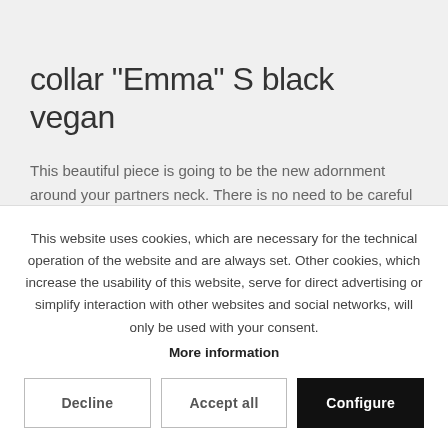collar "Emma" S black vegan
This beautiful piece is going to be the new adornment around your partners neck. There is no need to be careful with the material while you...
€29.00 *
This website uses cookies, which are necessary for the technical operation of the website and are always set. Other cookies, which increase the usability of this website, serve for direct advertising or simplify interaction with other websites and social networks, will only be used with your consent.
More information
Decline
Accept all
Configure